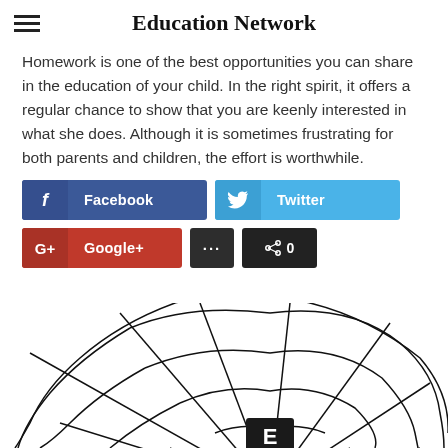Education Network
Homework is one of the best opportunities you can share in the education of your child. In the right spirit, it offers a regular chance to show that you are keenly interested in what she does. Although it is sometimes frustrating for both parents and children, the effort is worthwhile.
[Figure (infographic): Social share buttons: Facebook (dark blue), Twitter (light blue), Google+ (red), more (...) button (dark), share count 0 button (dark)]
[Figure (illustration): A spider web illustration with what appears to be a spider or letter E partially visible in the center, drawn in black outline style on white background]